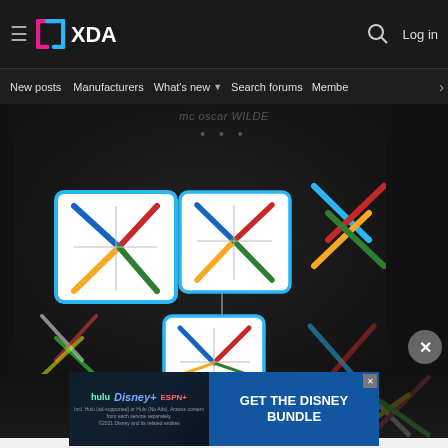XDA Developers navigation bar with hamburger menu, XDA logo, search icon, and Log in button
New posts  Manufacturers  What's new  Search forums  Membe  >
[Figure (screenshot): Dark background with Nexus X logo icons arranged in a hierarchy/tree diagram. Two larger framed Nexus X icons connected by a line at top, with a third framed icon below connected by a vertical line. Additional unframed Nexus X icons to the right and bottom. Text at top reads 'mc oscar WILDE ...']
[Figure (advertisement): Disney Bundle advertisement banner showing Hulu, Disney+, and ESPN+ logos on dark gradient background with blue CTA button 'GET THE DISNEY BUNDLE'. Fine print: 'Incl. Hulu (ad-supported) or Hulu (No Ads). Access content from each service separately. ©2021 Disney and its related entities']